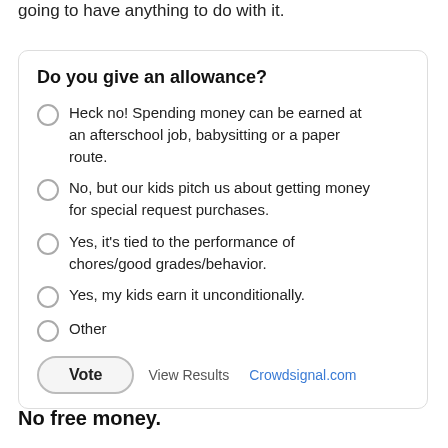going to have anything to do with it.
Do you give an allowance?
Heck no! Spending money can be earned at an afterschool job, babysitting or a paper route.
No, but our kids pitch us about getting money for special request purchases.
Yes, it's tied to the performance of chores/good grades/behavior.
Yes, my kids earn it unconditionally.
Other
Vote   View Results   Crowdsignal.com
No free money.